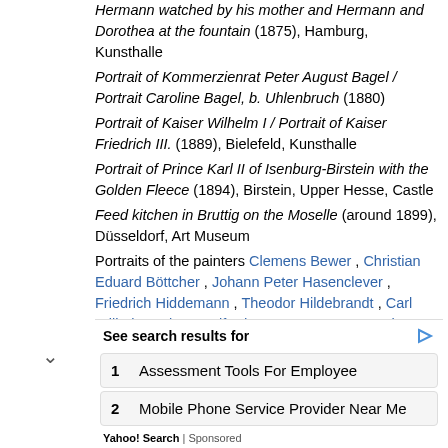Hermann watched by his mother and Hermann and Dorothea at the fountain (1875), Hamburg, Kunsthalle Portrait of Kommerzienrat Peter August Bagel / Portrait Caroline Bagel, b. Uhlenbruch (1880) Portrait of Kaiser Wilhelm I / Portrait of Kaiser Friedrich III. (1889), Bielefeld, Kunsthalle Portrait of Prince Karl II of Isenburg-Birstein with the Golden Fleece (1894), Birstein, Upper Hesse, Castle Feed kitchen in Bruttig on the Moselle (around 1899), Düsseldorf, Art Museum Portraits of the painters Clemens Bewer , Christian Eduard Böttcher , Johann Peter Hasenclever , Friedrich Hiddemann , Theodor Hildebrandt , Carl Wilhelm Hübner , Alfred Metzener , Caspar Scheuren , Adolf Schmitz , Adolf Schrödter , Adolph Tidemand , August Weber as well as the music director Julius Tausch , all Düsseldorf,
[Figure (other): Advertisement box: 'See search results for' with two sponsored search results: 1. Assessment Tools For Employee, 2. Mobile Phone Service Provider Near Me. Yahoo! Search | Sponsored]